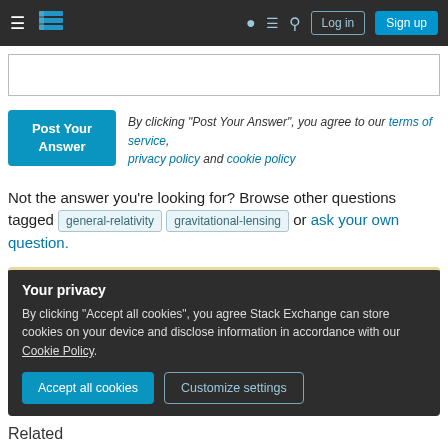Stack Exchange navigation bar with Log in and Sign up buttons
By clicking “Post Your Answer”, you agree to our terms of service, privacy policy and cookie policy
Not the answer you're looking for? Browse other questions tagged general-relativity gravitational-lensing or ask your own question.
Your privacy
By clicking “Accept all cookies”, you agree Stack Exchange can store cookies on your device and disclose information in accordance with our Cookie Policy.
Accept all cookies | Customize settings
Related